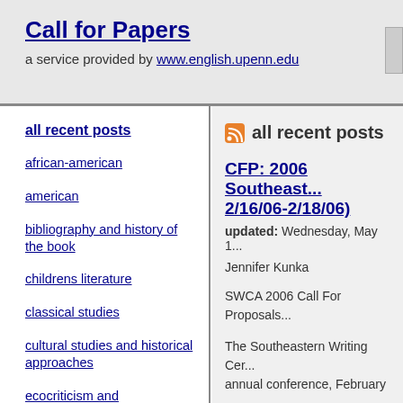Call for Papers
a service provided by www.english.upenn.edu
all recent posts
african-american
american
bibliography and history of the book
childrens literature
classical studies
cultural studies and historical approaches
ecocriticism and environmental studies
eighteenth century
all recent posts
CFP: 2006 Southeast... 2/16/06-2/18/06)
updated: Wednesday, May 1...
Jennifer Kunka
SWCA 2006 Call For Proposals...
The Southeastern Writing Cer... annual conference, February ... Co-hosted by the University o... Carolina Inn in Chapel Hill, Ne...